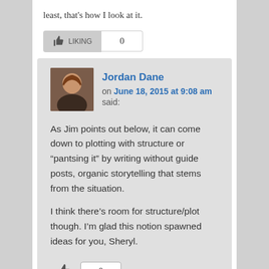least, that's how I look at it.
[Figure (other): Like button with count 0]
Jordan Dane on June 18, 2015 at 9:08 am said:
As Jim points out below, it can come down to plotting with structure or "pantsing it" by writing without guide posts, organic storytelling that stems from the situation.
I think there's room for structure/plot though. I'm glad this notion spawned ideas for you, Sheryl.
[Figure (other): Like button with count 0]